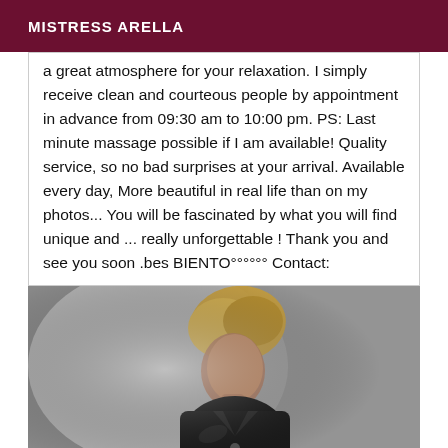MISTRESS ARELLA
a great atmosphere for your relaxation. I simply receive clean and courteous people by appointment in advance from 09:30 am to 10:00 pm. PS: Last minute massage possible if I am available! Quality service, so no bad surprises at your arrival. Available every day, More beautiful in real life than on my photos... You will be fascinated by what you will find unique and ... really unforgettable ! Thank you and see you soon .bes BIENTO°°°°°° Contact:
[Figure (photo): A blond-haired person wearing a black leather jacket, head tilted downward, photographed from above against a light grey background.]